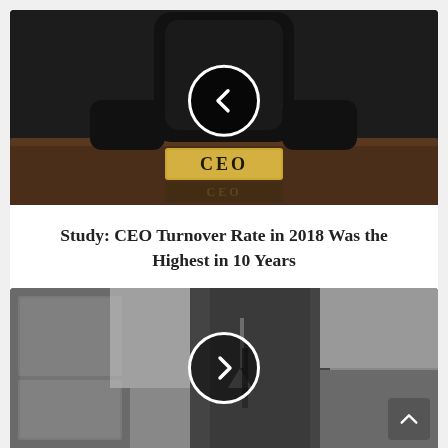[Figure (photo): CEO nameplate on a leather executive chair at a dark boardroom desk, with a circular back navigation arrow overlay]
Study: CEO Turnover Rate in 2018 Was the Highest in 10 Years
[Figure (photo): Collage of movie/TV images featuring spy/action scenes including a suited figure and the Eiffel Tower, with a forward navigation arrow overlay and a scroll-up button]